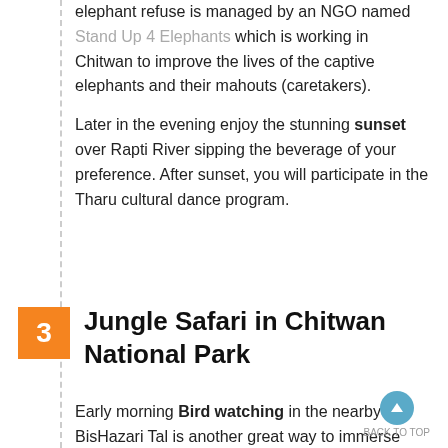elephant refuse is managed by an NGO named Stand Up 4 Elephants which is working in Chitwan to improve the lives of the captive elephants and their mahouts (caretakers).
Later in the evening enjoy the stunning sunset over Rapti River sipping the beverage of your preference. After sunset, you will participate in the Tharu cultural dance program.
3 Jungle Safari in Chitwan National Park
Early morning Bird watching in the nearby BisHazari Tal is another great way to immerse closer to nature and